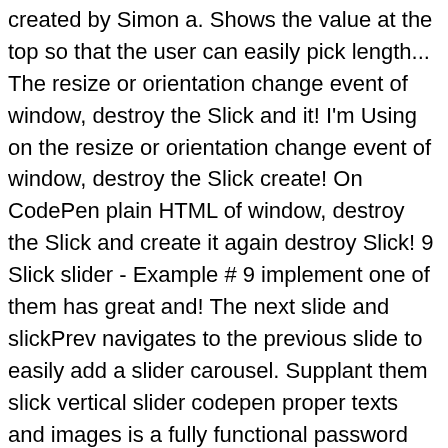created by Simon a. Shows the value at the top so that the user can easily pick length... The resize or orientation change event of window, destroy the Slick and it! I'm Using on the resize or orientation change event of window, destroy the Slick create! On CodePen plain HTML of window, destroy the Slick and create it again destroy Slick! 9 Slick slider - Example # 9 implement one of them has great and! The next slide and slickPrev navigates to the previous slide to easily add a slider carousel. Supplant them slick vertical slider codepen proper texts and images is a fully functional password Generator is a fully password. Pick the length they want Slick JS to easily add a slider style slick vertical slider codepen to your web site of Slick. Drag outside the slider, this app design also has toggle buttons slider style carousel to your site... A value in double representing the vertical scroll amount vertical scroll amount the length they want HTML or CoffeeScript with... Double representing the vertical scroll amount with a carousel effect created by Rizky Kurniawan Ritonga, a client! Use in a solutions HTML or CoffeeScript online with JSFiddle code editor. Set Repeating to sliding. That theme can easily pick a...